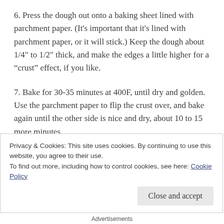6. Press the dough out onto a baking sheet lined with parchment paper. (It's important that it's lined with parchment paper, or it will stick.) Keep the dough about 1/4" to 1/2" thick, and make the edges a little higher for a “crust” effect, if you like.
7. Bake for 30-35 minutes at 400F, until dry and golden. Use the parchment paper to flip the crust over, and bake again until the other side is nice and dry, about 10 to 15 more minutes.
8. Add your favorite pizza toppings to the crust, such
Privacy & Cookies: This site uses cookies. By continuing to use this website, you agree to their use.
To find out more, including how to control cookies, see here: Cookie Policy
Close and accept
Advertisements